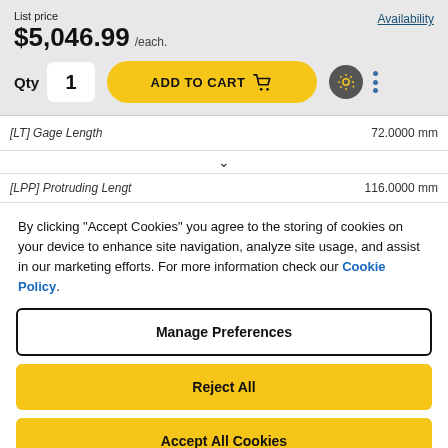List price
$5,046.99 /each.
Availability
Qty 1
ADD TO CART
[LT] Gage Length  72.0000 mm
[LPP] Protruding Length  116.0000 mm
By clicking "Accept Cookies" you agree to the storing of cookies on your device to enhance site navigation, analyze site usage, and assist in our marketing efforts. For more information check our Cookie Policy.
Manage Preferences
Reject All
Accept All Cookies